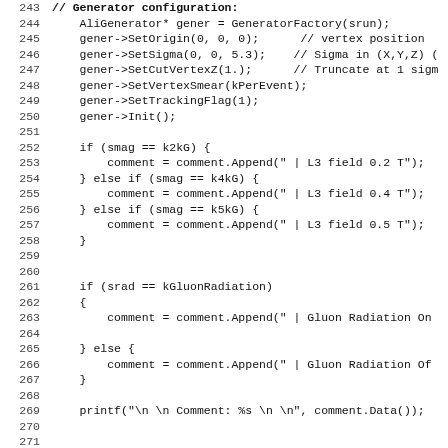[Figure (screenshot): Source code listing in monospace font showing C++ code lines 243-275, including AliGenerator setup, magnetic field conditionals, gluon radiation conditionals, printf statement, and AliMagFMaps field initialization.]